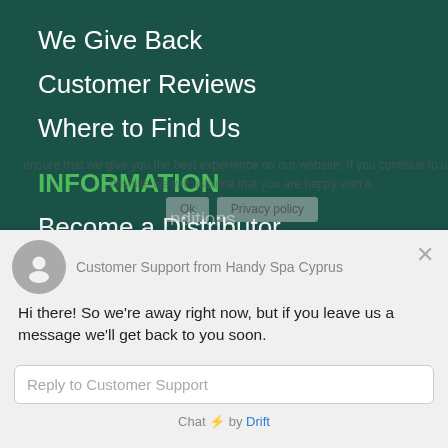We Give Back
Customer Reviews
Where to Find Us
INFORMATION
Become a Distributor
Cookies Policy
Privacy Policy
[Figure (screenshot): Chat support widget overlay from Handy Spa Cyprus showing away message and reply input field powered by Drift]
Customer Support from Handy Spa Cyprus
Hi there! So we're away right now, but if you leave us a message we'll get back to you soon.
Reply to Customer Support
Chat ⚡ by Drift